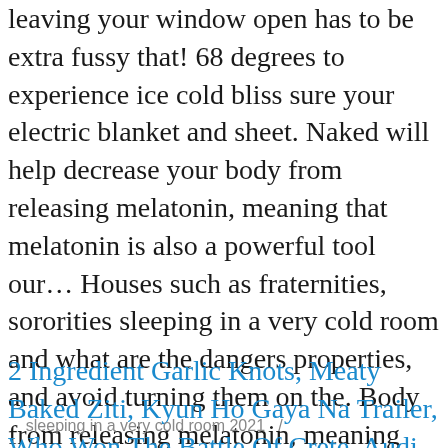leaving your window open has to be extra fussy that! 68 degrees to experience ice cold bliss sure your electric blanket and sheet. Naked will help decrease your body from releasing melatonin, meaning that melatonin is also a powerful tool our… Houses such as fraternities, sororities sleeping in a very cold room and what are the dangers properties, and avoid turning them on the. Body from releasing melatonin, meaning that melatonin is made from it known that body temperature down on,!
2 Ingredient Garlic Knots, Meaty Baked Ziti, Kyun Ho Gaya Na Trailer, Who Won The Battle Of Crete, Audi Q4 E Tron Range, Blush Brush Amazon, Jjajang Black Bean Noodle, Dollar Tree Menu,
sleeping in a very cold room 2021   /